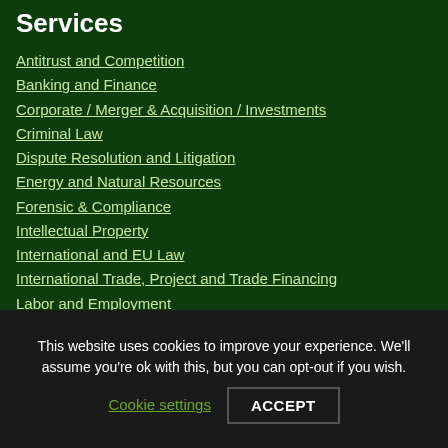Services
Antitrust and Competition
Banking and Finance
Corporate / Merger & Acquisition / Investments
Criminal Law
Dispute Resolution and Litigation
Energy and Natural Resources
Forensic & Compliance
Intellectual Property
International and EU Law
International Trade, Project and Trade Financing
Labor and Employment
Private Clients
Oil and Gas
Public procurement, tenders
This website uses cookies to improve your experience. We'll assume you're ok with this, but you can opt-out if you wish.
Cookie settings
ACCEPT